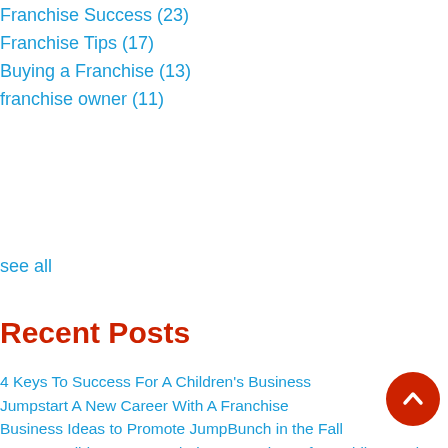Franchise Success (23)
Franchise Tips (17)
Buying a Franchise (13)
franchise owner (11)
see all
Recent Posts
4 Keys To Success For A Children's Business
Jumpstart A New Career With A Franchise
Business Ideas to Promote JumpBunch in the Fall
How To Build a Sports and Fitness Business for Toddlers and Preschoolers
The Story of JumpBunch:  Sports and Fitness for Kids
5 Reasons Why Sports for Toddlers is so Important (and Growing!)
Making Money with your Kids Fitness Business
Summer Activities for Kids-and How JumpBunch Can Help!